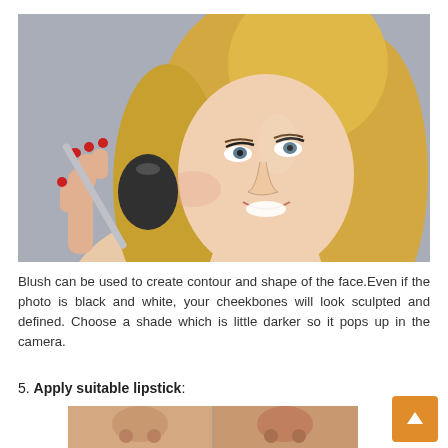[Figure (photo): Blonde woman smiling and holding a large makeup brush (blush brush) to her cheek, light gray background, red nails visible.]
Blush can be used to create contour and shape of the face.Even if the photo is black and white, your cheekbones will look sculpted and defined. Choose a shade which is little darker so it pops up in the camera.
5. Apply suitable lipstick:
[Figure (photo): Side-by-side comparison of a woman's lower face/nose area, possibly showing before and after makeup application.]